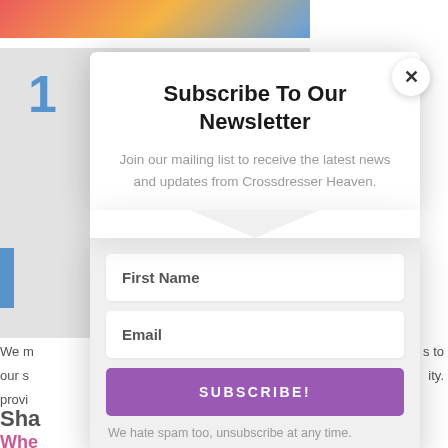[Figure (screenshot): Background webpage with colorful header image and article content partially visible behind modal overlay]
Subscribe To Our Newsletter
Join our mailing list to receive the latest news and updates from Crossdresser Heaven.
First Name
Email
SUBSCRIBE!
We hate spam too, unsubscribe at any time.